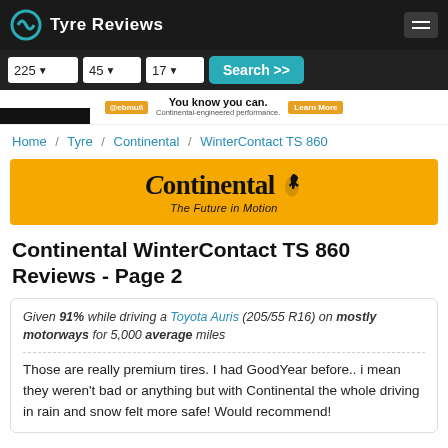Tyre Reviews
225 / 45 / 17 Search >>
[Figure (logo): Continental brand banner - orange background with Continental logo and tagline 'The Future in Motion']
Home / Tyre / Continental / WinterContact TS 860
Continental WinterContact TS 860 Reviews - Page 2
Given 91% while driving a Toyota Auris (205/55 R16) on mostly motorways for 5,000 average miles
Those are really premium tires. I had GoodYear before.. i mean they weren't bad or anything but with Continental the whole driving in rain and snow felt more safe! Would recommend!